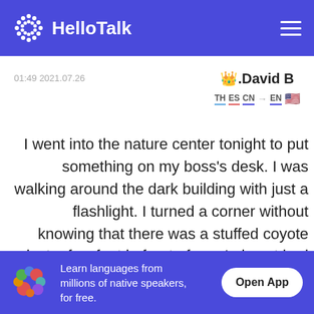HelloTalk
01:49 2021.07.26
👑.David B
TH ES CN → EN 🇺🇸
I went into the nature center tonight to put something on my boss's desk. I was walking around the dark building with just a flashlight. I turned a corner without knowing that there was a stuffed coyote just a few feet in front of me. I almost had a heart attack! Delaware, USA
Learn languages from millions of native speakers, for free. Open App